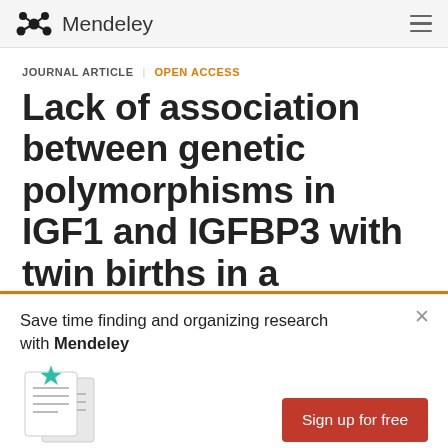Mendeley
JOURNAL ARTICLE   OPEN ACCESS
Lack of association between genetic polymorphisms in IGF1 and IGFBP3 with twin births in a Brazilian
Save time finding and organizing research with Mendeley
Sign up for free